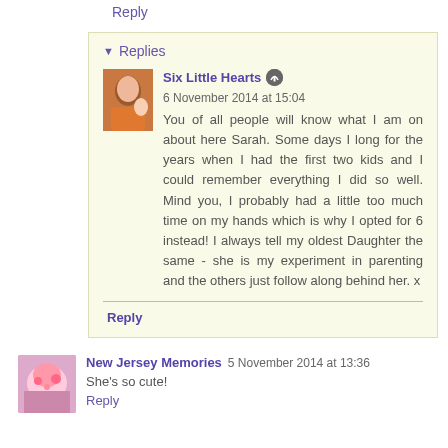confusing poor love!
Reply
Replies
Six Little Hearts  6 November 2014 at 15:04
You of all people will know what I am on about here Sarah. Some days I long for the years when I had the first two kids and I could remember everything I did so well. Mind you, I probably had a little too much time on my hands which is why I opted for 6 instead! I always tell my oldest Daughter the same - she is my experiment in parenting and the others just follow along behind her. x
Reply
New Jersey Memories  5 November 2014 at 13:36
She's so cute!
Reply